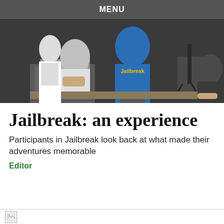MENU
[Figure (photo): People sitting at desks working on laptops; one person wearing a blue 'Jailbreak' t-shirt visible from behind, others working around a shared workspace with monitors and equipment.]
Jailbreak: an experience
Participants in Jailbreak look back at what made their adventures memorable
Editor
[Figure (photo): Partially visible broken image placeholder at the bottom of the page.]